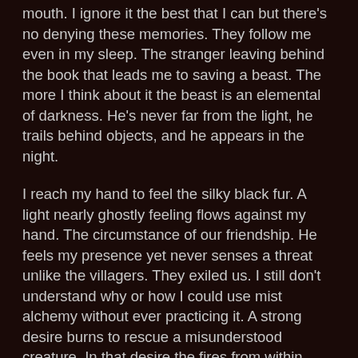mouth. I ignore it the best that I can but there's no denying these memories. They follow me even in my sleep. The stranger leaving behind the book that leads me to saving a beast. The more I think about it the beast is an elemental of darkness. He's never far from the light, he trails behind objects, and he appears in the night.
I reach my hand to feel the silky black fur. A light nearly ghostly feeling flows against my hand. The circumstance of our friendship. He feels my presence yet never senses a threat unlike the villagers. They exiled us. I still don't understand why or how I could use mist alchemy without ever practicing it. A strong desire burns to rescue a misunderstood creature. In that desire the fires from within found their way. My fingers fusing with the beast's wispy, cold coat. The past few days seem to fade away.